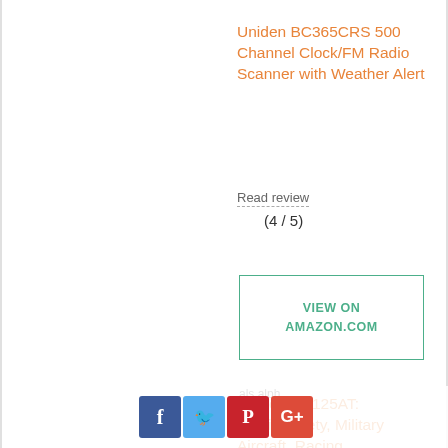Uniden BC365CRS 500 Channel Clock/FM Radio Scanner with Weather Alert
Read review
(4 / 5)
VIEW ON AMAZON.COM
Uniden BC125AT: Public Safety, Military Aircraft, Racing
[Figure (other): Social media share buttons: Facebook, Twitter, Pinterest, Google+]